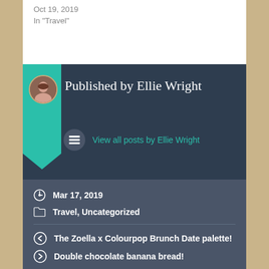Oct 19, 2019
In "Travel"
Published by Ellie Wright
View all posts by Ellie Wright
Mar 17, 2019
Travel, Uncategorized
The Zoella x Colourpop Brunch Date palette!
Double chocolate banana bread!